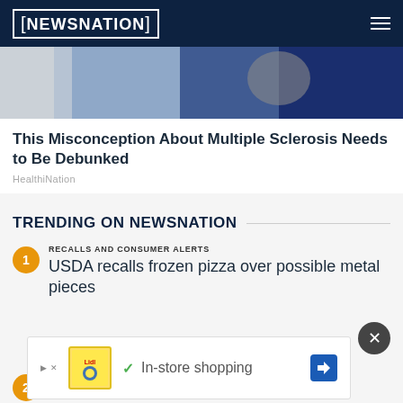[NEWSNATION]
[Figure (photo): Partial hero image showing a close-up, partially cropped view with blue tones — appears to be a medical or news image]
This Misconception About Multiple Sclerosis Needs to Be Debunked
HealthiNation
TRENDING ON NEWSNATION
RECALLS AND CONSUMER ALERTS
USDA recalls frozen pizza over possible metal pieces
[Figure (screenshot): Advertisement banner: Lidl logo, checkmark, In-store shopping text, blue diamond arrow icon]
2
Burmese python hunt 'huge win' for